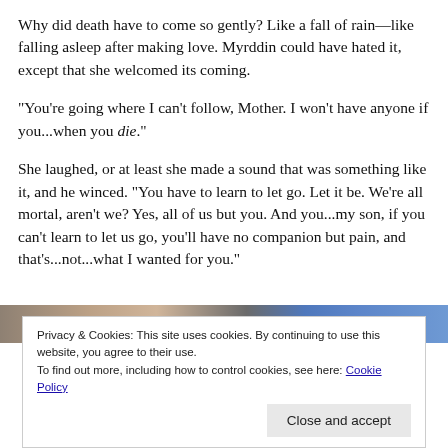Why did death have to come so gently? Like a fall of rain—like falling asleep after making love. Myrddin could have hated it, except that she welcomed its coming.
“You’re going where I can’t follow, Mother. I won’t have anyone if you...when you die.”
She laughed, or at least she made a sound that was something like it, and he winced. “You have to learn to let go. Let it be. We’re all mortal, aren’t we? Yes, all of us but you. And you...my son, if you can’t learn to let us go, you’ll have no companion but pain, and that’s...not...what I wanted for you.”
[Figure (photo): Partial image strip showing faces/avatars and a blue element, partially visible behind cookie consent bar]
Privacy & Cookies: This site uses cookies. By continuing to use this website, you agree to their use.
To find out more, including how to control cookies, see here: Cookie Policy
Close and accept